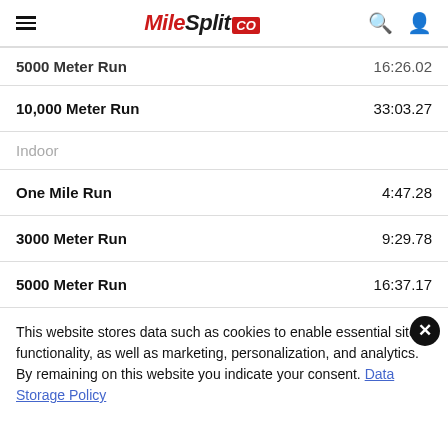MileSplit CO
| Event | Time |
| --- | --- |
| 5000 Meter Run | 16:26.02 |
| 10,000 Meter Run | 33:03.27 |
| Indoor |  |
| One Mile Run | 4:47.28 |
| 3000 Meter Run | 9:29.78 |
| 5000 Meter Run | 16:37.17 |
This website stores data such as cookies to enable essential site functionality, as well as marketing, personalization, and analytics. By remaining on this website you indicate your consent. Data Storage Policy